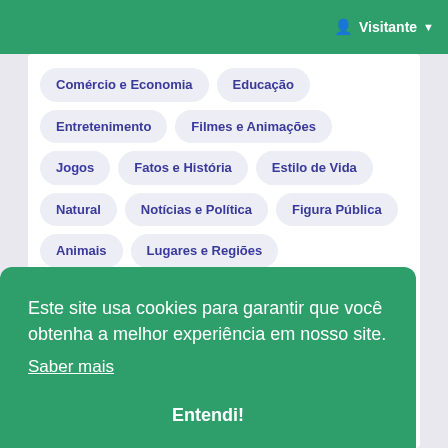Visitante
Comércio e Economia
Educação
Entretenimento
Filmes e Animações
Jogos
Fatos e História
Estilo de Vida
Natural
Notícias e Política
Figura Pública
Animais
Lugares e Regiões
Ciência e Tecnologia
Esporte
Viagens e Eventos
Outras
Este site usa cookies para garantir que você obtenha a melhor experiência em nosso site.
Saber mais
Entendi!